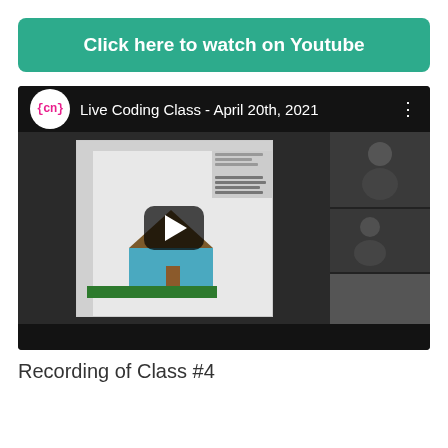[Figure (screenshot): Green button with text 'Click here to watch on Youtube']
[Figure (screenshot): YouTube video thumbnail showing 'Live Coding Class - April 20th, 2021' with {cn} logo, a coding canvas with a house drawing, participant thumbnails on the right, and a play button overlay]
Recording of Class #4